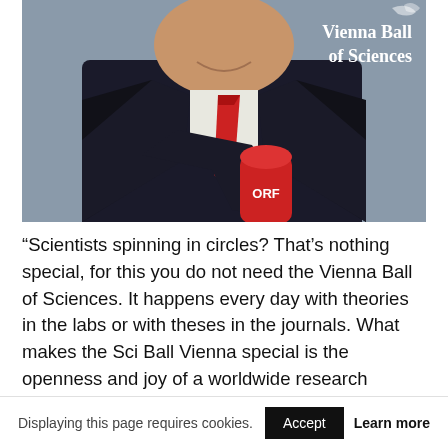[Figure (photo): A man in a dark suit with a red tie holds an ORF (Austrian Broadcasting Corporation) red microphone toward the camera. Text overlay in the upper right reads 'Vienna Ball of Sciences' in white serif font.]
“Scientists spinning in circles? That’s nothing special, for this you do not need the Vienna Ball of Sciences. It happens every day with theories in the labs or with theses in the journals. What makes the Sci Ball Vienna special is the openness and joy of a worldwide research community in the heart of Europe. It goes to prove what until recently no-
Displaying this page requires cookies.